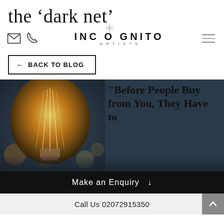the 'dark net'
[Figure (logo): Incognito Artists logo with star motif, text INCOGNITO in bold uppercase with ARTISTS below in spaced small caps]
← BACK TO BLOG
[Figure (photo): Photo of a glowing Edison filament bulb on a dark blue background with bokeh lights, overlaid with quote text: "Before People Buy from You, They Have to [Buy You]"]
Make an Enquiry ↓
Call Us 02072915350